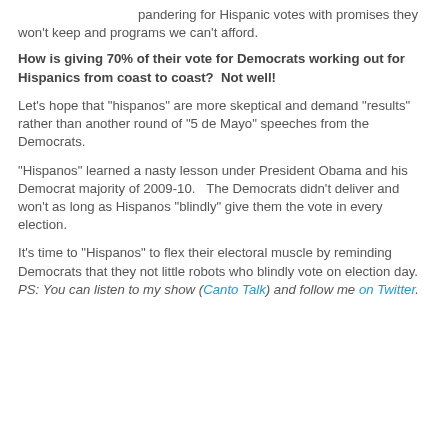pandering for Hispanic votes with promises they won't keep and programs we can't afford.
How is giving 70% of their vote for Democrats working out for Hispanics from coast to coast?  Not well!
Let's hope that "hispanos" are more skeptical and demand "results" rather than another round of "5 de Mayo" speeches from the Democrats.
"Hispanos" learned a nasty lesson under President Obama and his Democrat majority of 2009-10.   The Democrats didn't deliver and won't as long as Hispanos "blindly" give them the vote in every election.
It's time to "Hispanos" to flex their electoral muscle by reminding Democrats that they not little robots who blindly vote on election day.
PS: You can listen to my show (Canto Talk) and follow me on Twitter.